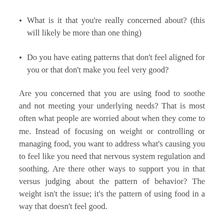What is it that you're really concerned about? (this will likely be more than one thing)
Do you have eating patterns that don't feel aligned for you or that don't make you feel very good?
Are you concerned that you are using food to soothe and not meeting your underlying needs? That is most often what people are worried about when they come to me. Instead of focusing on weight or controlling or managing food, you want to address what's causing you to feel like you need that nervous system regulation and soothing. Are there other ways to support you in that versus judging about the pattern of behavior? The weight isn't the issue; it's the pattern of using food in a way that doesn't feel good.